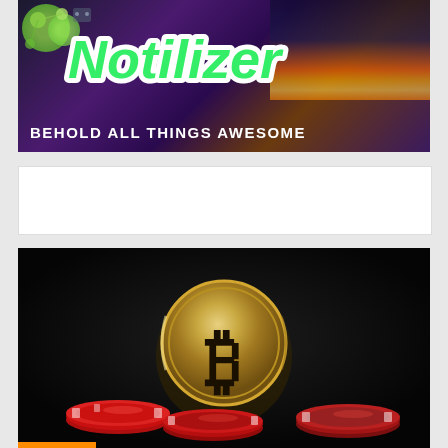[Figure (logo): Notilizer website banner with green italic 'Notilizer' logo text on dark purple/city background, subtitle 'BEHOLD ALL THINGS AWESOME' in white bold capitals]
[Figure (other): White advertisement placeholder box]
[Figure (photo): Dark photograph of a gold Bitcoin coin standing upright with casino/poker chips in the foreground on a black background, orange accent bar at bottom left]